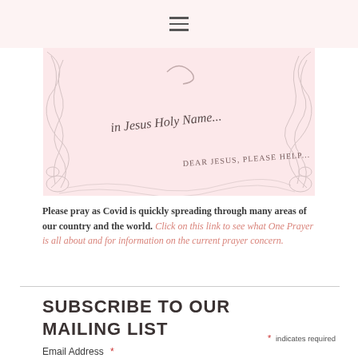menu icon / hamburger navigation
[Figure (illustration): Sketch-style illustration on a pale pink background showing handwritten-style text: 'in Jesus Holy Name...' and 'DEAR JESUS, PLEASE HELP...' with abstract pencil scribble designs around the edges]
Please pray as Covid is quickly spreading through many areas of our country and the world. Click on this link to see what One Prayer is all about and for information on the current prayer concern.
SUBSCRIBE TO OUR MAILING LIST
* indicates required
Email Address *